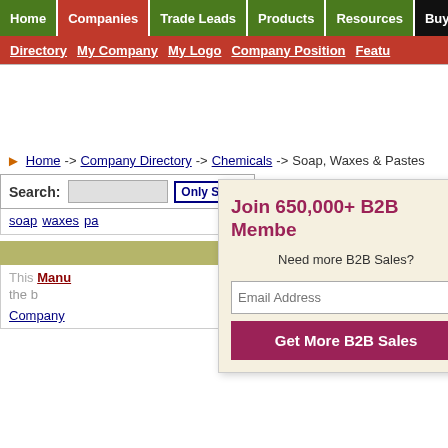Home | Companies | Trade Leads | Products | Resources | Buying
Directory  My Company  My Logo  Company Position  Featur
Home -> Company Directory -> Chemicals -> Soap, Waxes & Pastes
Search: [input] Only Soap, Waxes & Paste
soap  waxes  pa
This Manu
the b
Company
[Figure (screenshot): B2B membership signup popup overlay with text 'Join 650,000+ B2B Membe', 'Need more B2B Sales?', email address input field, and 'Get More B2B Sales' button]